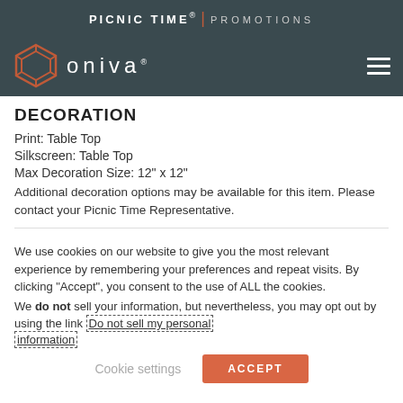PICNIC TIME® | PROMOTIONS
[Figure (logo): Oniva logo with hexagon icon and ONIVA wordmark on dark teal background with hamburger menu icon]
DECORATION
Print: Table Top
Silkscreen: Table Top
Max Decoration Size: 12" x 12"
Additional decoration options may be available for this item. Please contact your Picnic Time Representative.
We use cookies on our website to give you the most relevant experience by remembering your preferences and repeat visits. By clicking "Accept", you consent to the use of ALL the cookies.
We do not sell your information, but nevertheless, you may opt out by using the link Do not sell my personal information